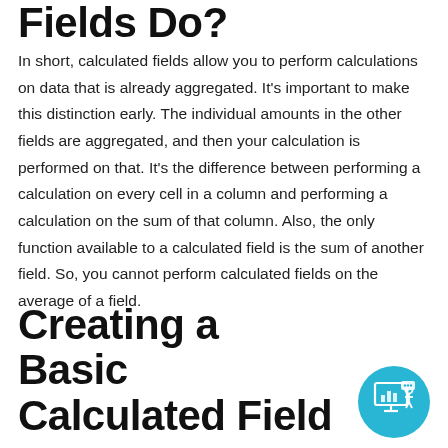Fields Do?
In short, calculated fields allow you to perform calculations on data that is already aggregated. It's important to make this distinction early. The individual amounts in the other fields are aggregated, and then your calculation is performed on that. It's the difference between performing a calculation on every cell in a column and performing a calculation on the sum of that column. Also, the only function available to a calculated field is the sum of another field. So, you cannot perform calculated fields on the average of a field.
Creating a Basic Calculated Field
[Figure (illustration): Cyan circle with a white icon of a person presenting at a screen with a chart and speech bubble]